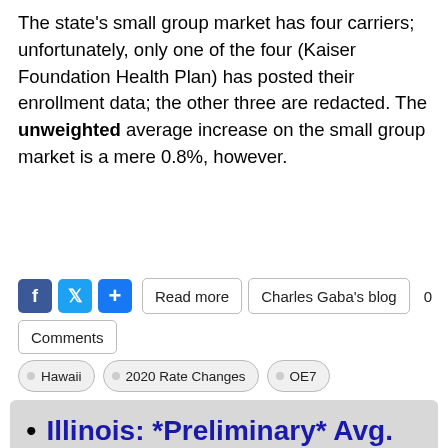The state's small group market has four carriers; unfortunately, only one of the four (Kaiser Foundation Health Plan) has posted their enrollment data; the other three are redacted. The unweighted average increase on the small group market is a mere 0.8%, however.
Read more | Charles Gaba's blog | 0 Comments
Hawaii | 2020 Rate Changes | OE7
Illinois: *Preliminary* Avg. 2020 #ACA Premiums: 1.4% Increase (Unweighted Avg